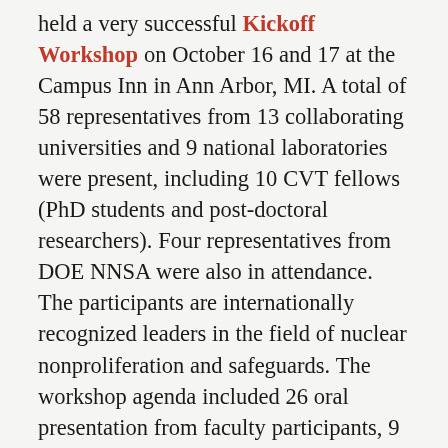held a very successful Kickoff Workshop on October 16 and 17 at the Campus Inn in Ann Arbor, MI. A total of 58 representatives from 13 collaborating universities and 9 national laboratories were present, including 10 CVT fellows (PhD students and post-doctoral researchers). Four representatives from DOE NNSA were also in attendance. The participants are internationally recognized leaders in the field of nuclear nonproliferation and safeguards. The workshop agenda included 26 oral presentation from faculty participants, 9 presentations on the national laboratory capabilities, and 10 poster presentations from the CVT fellows. The CVT is led by Professor Sara Pozzi from University of Michigan and represents a 25 M$/5 year investment by DOE to address the pressing needs in nuclear treaty verification and develop the next generation of